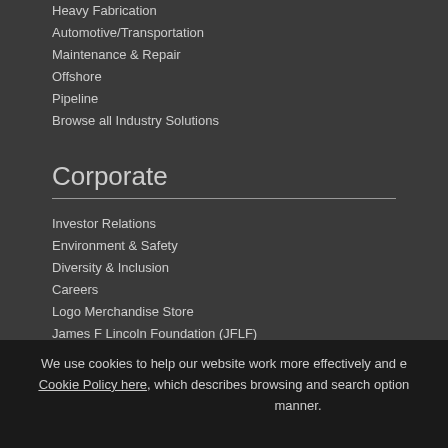Heavy Fabrication
Automotive/Transportation
Maintenance & Repair
Offshore
Pipeline
Browse all Industry Solutions
Corporate
Investor Relations
Environment & Safety
Diversity & Inclusion
Careers
Logo Merchandise Store
James F Lincoln Foundation (JFLF)
Industry Certifications
Website Terms of Use
We use cookies to help our website work more effectively and e... Cookie Policy here, which describes browsing and search option... manner.